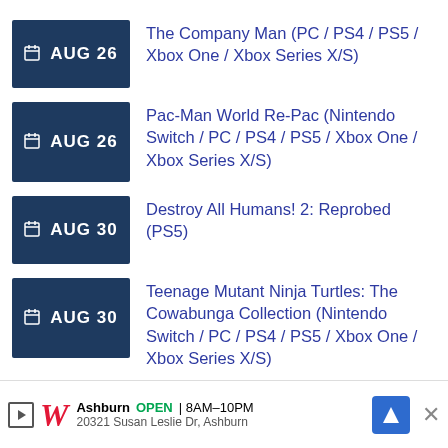AUG 26 — The Company Man (PC / PS4 / PS5 / Xbox One / Xbox Series X/S)
AUG 26 — Pac-Man World Re-Pac (Nintendo Switch / PC / PS4 / PS5 / Xbox One / Xbox Series X/S)
AUG 30 — Destroy All Humans! 2: Reprobed (PS5)
AUG 30 — Teenage Mutant Ninja Turtles: The Cowabunga Collection (Nintendo Switch / PC / PS4 / PS5 / Xbox One / Xbox Series X/S)
Ashburn OPEN 8AM–10PM 20321 Susan Leslie Dr, Ashburn